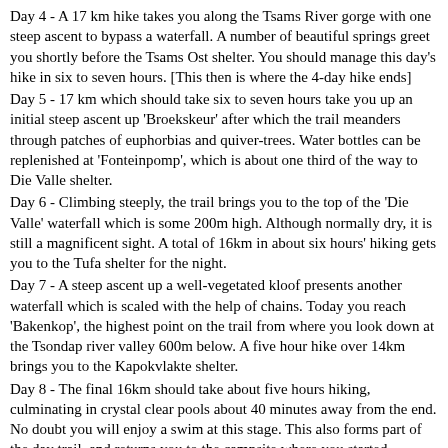Day 4 - A 17 km hike takes you along the Tsams River gorge with one steep ascent to bypass a waterfall. A number of beautiful springs greet you shortly before the Tsams Ost shelter. You should manage this day's hike in six to seven hours. [This then is where the 4-day hike ends]
Day 5 - 17 km which should take six to seven hours take you up an initial steep ascent up 'Broekskeur' after which the trail meanders through patches of euphorbias and quiver-trees. Water bottles can be replenished at 'Fonteinpomp', which is about one third of the way to Die Valle shelter.
Day 6 - Climbing steeply, the trail brings you to the top of the 'Die Valle' waterfall which is some 200m high. Although normally dry, it is still a magnificent sight. A total of 16km in about six hours' hiking gets you to the Tufa shelter for the night.
Day 7 - A steep ascent up a well-vegetated kloof presents another waterfall which is scaled with the help of chains. Today you reach 'Bakenkop', the highest point on the trail from where you look down at the Tsondap river valley 600m below. A five hour hike over 14km brings you to the Kapokvlakte shelter.
Day 8 - The final 16km should take about five hours hiking, culminating in crystal clear pools about 40 minutes away from the end. No doubt you will enjoy a swim at this stage. This also forms part of the day trail, and returns you to the campsite where you started.